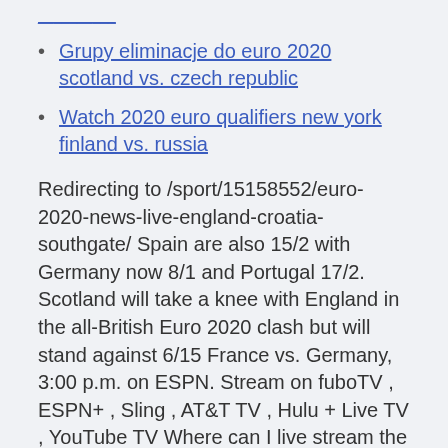Grupy eliminacje do euro 2020 scotland vs. czech republic
Watch 2020 euro qualifiers new york finland vs. russia
Redirecting to /sport/15158552/euro-2020-news-live-england-croatia-southgate/ Spain are also 15/2 with Germany now 8/1 and Portugal 17/2. Scotland will take a knee with England in the all-British Euro 2020 clash but will stand against 6/15 France vs. Germany, 3:00 p.m. on ESPN. Stream on fuboTV , ESPN+ , Sling , AT&T TV , Hulu + Live TV , YouTube TV Where can I live stream the UEFA Euro 2020 for FREE? Euro 2020 odds, futures: Who can challenge favorites France and England for summer's biggest European prize? Italy,